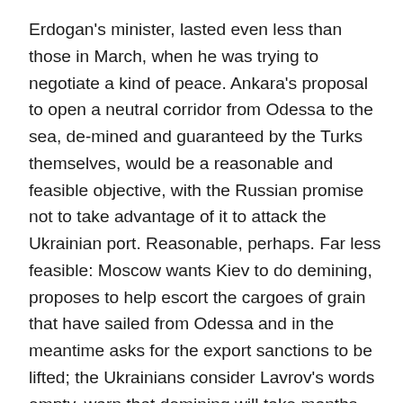Erdogan's minister, lasted even less than those in March, when he was trying to negotiate a kind of peace. Ankara's proposal to open a neutral corridor from Odessa to the sea, de-mined and guaranteed by the Turks themselves, would be a reasonable and feasible objective, with the Russian promise not to take advantage of it to attack the Ukrainian port. Reasonable, perhaps. Far less feasible: Moscow wants Kiev to do demining, proposes to help escort the cargoes of grain that have sailed from Odessa and in the meantime asks for the export sanctions to be lifted; the Ukrainians consider Lavrov's words empty, warn that demining will take months (and meanwhile the wheat rots) and in any case they do not trust at all to clear the Black Sea, removing the mines, only because Putin promises to keep his artillery still.